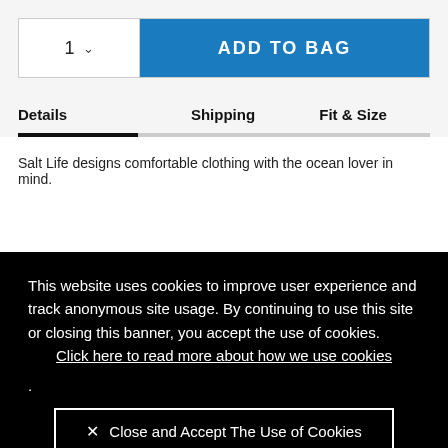1  ADD TO BAG
Details   Shipping   Fit & Size   Reviews
Salt Life designs comfortable clothing with the ocean lover in mind.
This website uses cookies to improve user experience and track anonymous site usage. By continuing to use this site or closing this banner, you accept the use of cookies. Click here to read more about how we use cookies .
✕ Close and Accept The Use of Cookies